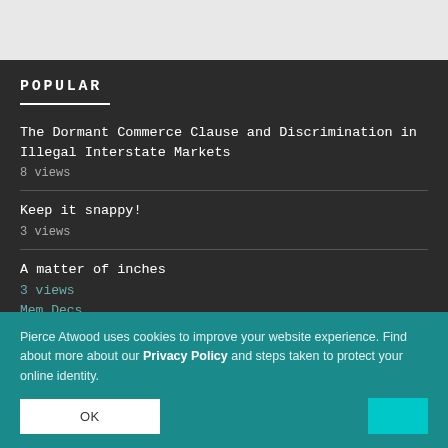POPULAR
The Dormant Commerce Clause and Discrimination in Illegal Interstate Markets
8 views
Keep it snappy!
3 views
A matter of inches
3 views
Mem Decs
3 views
Due Process, Preliminary Injunctions, and Final
Pierce Atwood uses cookies to improve your website experience. Find about more about our Privacy Policy and steps taken to protect your online identity.